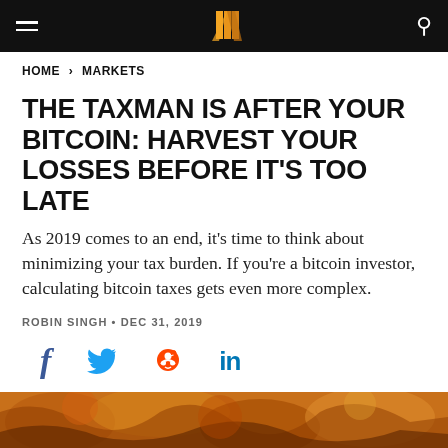Navigation bar with hamburger menu, logo, and search icon
HOME > MARKETS
THE TAXMAN IS AFTER YOUR BITCOIN: HARVEST YOUR LOSSES BEFORE IT'S TOO LATE
As 2019 comes to an end, it's time to think about minimizing your tax burden. If you're a bitcoin investor, calculating bitcoin taxes gets even more complex.
ROBIN SINGH · DEC 31, 2019
[Figure (infographic): Social share icons: Facebook (f), Twitter (bird), Reddit (alien), LinkedIn (in)]
[Figure (illustration): Decorative illustration partially visible at bottom of page, featuring warm orange and brown tones with stylized artistic pattern]